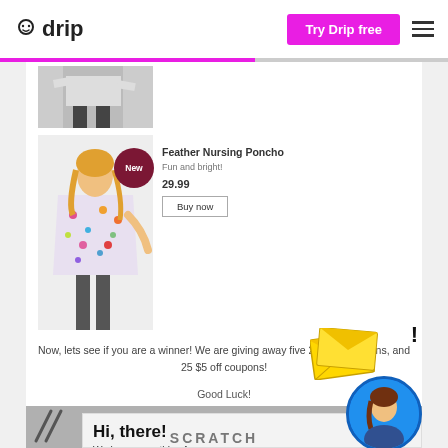[Figure (screenshot): Drip website header with logo, 'Try Drip free' magenta button, and hamburger menu]
[Figure (photo): Partially visible product image at top of listing]
[Figure (photo): Woman wearing Feather Nursing Poncho with 'New' badge overlay]
Feather Nursing Poncho
Fun and bright!
29.99
Buy now
Now, lets see if you are a winner! We are giving away five 25% off coupons, and 25 $5 off coupons!
Good Luck!
[Figure (screenshot): Popup overlay showing email envelope icon, exclamation mark, avatar of woman, 'Hi, there!' heading, 'We have something for you' text, and SCRATCH card area below]